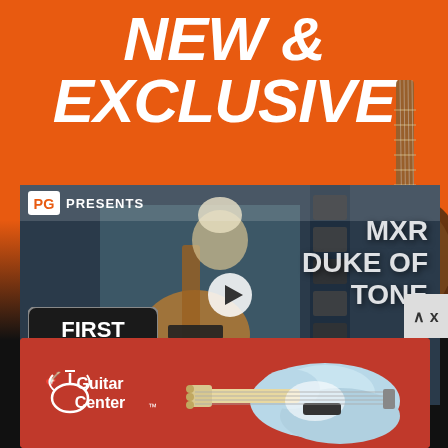NEW & EXCLUSIVE
[Figure (screenshot): PG Presents video thumbnail showing a guitarist holding a guitar with 'MXR DUKE OF TONE' text overlay and a 'FIRST LOOK' badge. Play button visible in center.]
[Figure (logo): Guitar Center advertisement banner with Guitar Center logo on red background and a light blue bass guitar image]